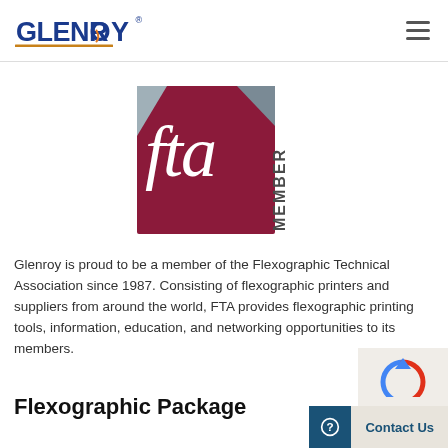GLENROY®
[Figure (logo): FTA MEMBER logo — dark red/maroon stylized letters 'fta' with 'MEMBER' text rotated vertically on the right side]
Glenroy is proud to be a member of the Flexographic Technical Association since 1987. Consisting of flexographic printers and suppliers from around the world, FTA provides flexographic printing tools, information, education, and networking opportunities to its members.
Flexographic Package
[Figure (other): Contact Us button bar with dark blue circle question mark icon and beige Contact Us label; also a reCAPTCHA partial widget]